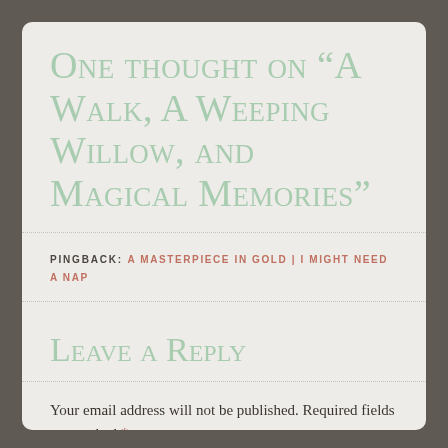One thought on “A Walk, A Weeping Willow, and Magical Memories”
PINGBACK: A MASTERPIECE IN GOLD | I MIGHT NEED A NAP
Leave a Reply
Your email address will not be published. Required fields are marked *
COMMENT *